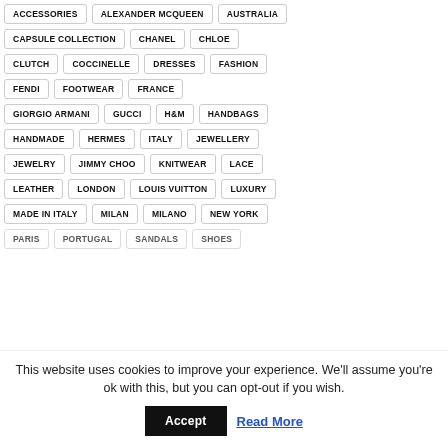ACCESSORIES
ALEXANDER MCQUEEN
AUSTRALIA
CAPSULE COLLECTION
CHANEL
CHLOE
CLUTCH
COCCINELLE
DRESSES
FASHION
FENDI
FOOTWEAR
FRANCE
GIORGIO ARMANI
GUCCI
H&M
HANDBAGS
HANDMADE
HERMES
ITALY
JEWELLERY
JEWELRY
JIMMY CHOO
KNITWEAR
LACE
LEATHER
LONDON
LOUIS VUITTON
LUXURY
MADE IN ITALY
MILAN
MILANO
NEW YORK
PARIS
PORTUGAL
SANDALS
SHOES
This website uses cookies to improve your experience. We'll assume you're ok with this, but you can opt-out if you wish.
Accept
Read More